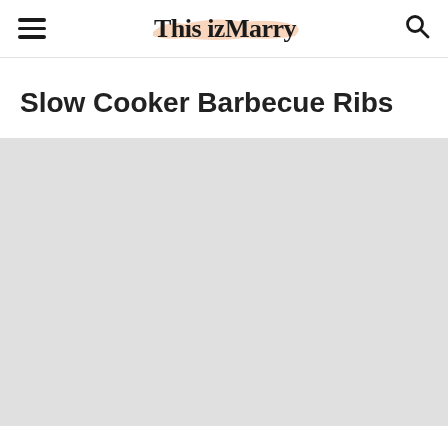This izMarry
Slow Cooker Barbecue Ribs
[Figure (photo): Light gray placeholder rectangle representing a food photo for Slow Cooker Barbecue Ribs]